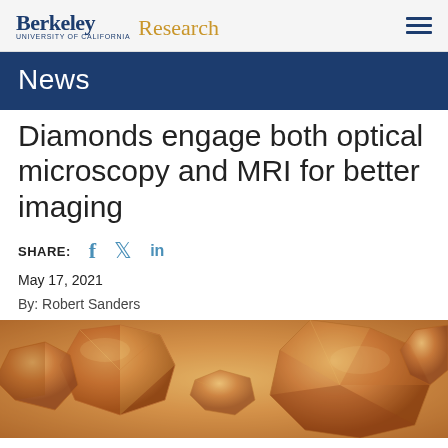Berkeley Research
News
Diamonds engage both optical microscopy and MRI for better imaging
SHARE:
May 17, 2021
By: Robert Sanders
[Figure (photo): Close-up photograph of small diamond crystals with amber/brown coloring on a golden background]